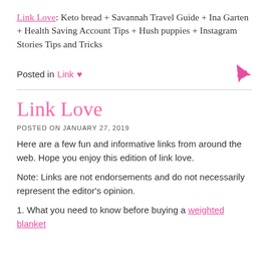Link Love: Keto bread + Savannah Travel Guide + Ina Garten + Health Saving Account Tips + Hush puppies + Instagram Stories Tips and Tricks
Posted in Link ♥
Link Love
POSTED ON JANUARY 27, 2019
Here are a few fun and informative links from around the web. Hope you enjoy this edition of link love.
Note: Links are not endorsements and do not necessarily represent the editor's opinion.
1. What you need to know before buying a weighted blanket